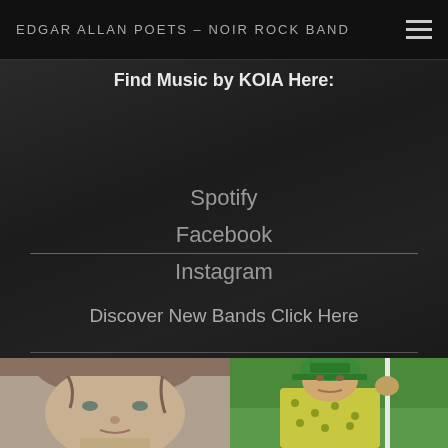EDGAR ALLAN POETS – NOIR ROCK BAND
Find Music by KOIA Here:
Spotify
Facebook
Instagram
Discover New Bands Click Here
[Figure (photo): Close-up portrait of a young person with light brown hair and light eyes]
[Figure (photo): Golfer wearing a green BetMGM cap and a patterned shirt, holding a golf club]